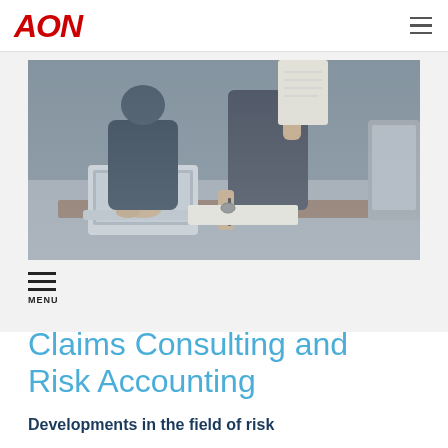AON
[Figure (photo): Two business professionals at a desk — one typing on a laptop, another writing on paper and holding a document, office setting.]
Claims Consulting and Risk Accounting
Developments in the field of risk